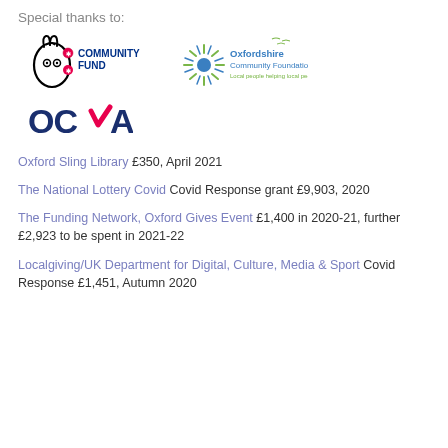Special thanks to:
[Figure (logo): National Lottery Community Fund logo and Oxfordshire Community Foundation logo side by side]
[Figure (logo): OCVA logo]
Oxford Sling Library £350, April 2021
The National Lottery Covid Covid Response grant £9,903, 2020
The Funding Network, Oxford Gives Event £1,400 in 2020-21, further £2,923 to be spent in 2021-22
Localgiving/UK Department for Digital, Culture, Media & Sport Covid Response £1,451, Autumn 2020